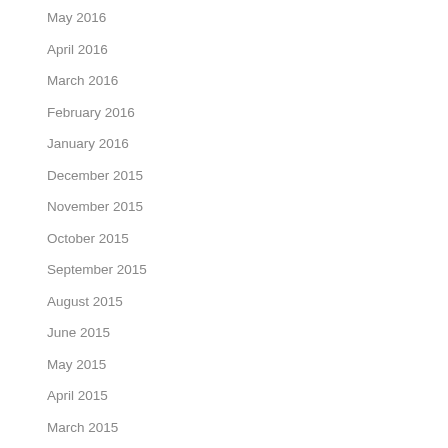May 2016
April 2016
March 2016
February 2016
January 2016
December 2015
November 2015
October 2015
September 2015
August 2015
June 2015
May 2015
April 2015
March 2015
February 2015